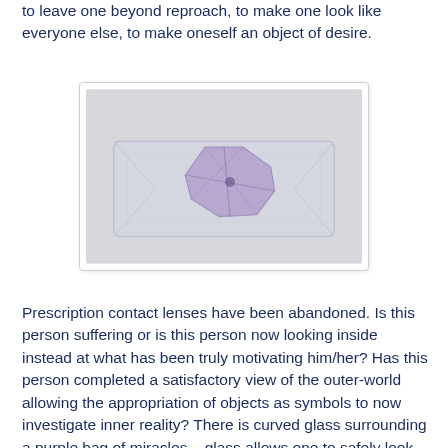to leave one beyond reproach, to make one look like everyone else, to make oneself an object of desire.
[Figure (photo): Photo of a purple/lavender folded octagonal cloth or bag object resting on a clear plastic or glass rectangular tray, on a light gray background.]
Prescription contact lenses have been abandoned. Is this person suffering or is this person now looking inside instead at what has been truly motivating him/her? Has this person completed a satisfactory view of the outer-world allowing the appropriation of objects as symbols to now investigate inner reality? There is curved glass surrounding a purple bag of miracles – glass allows one to safely look at but not engage